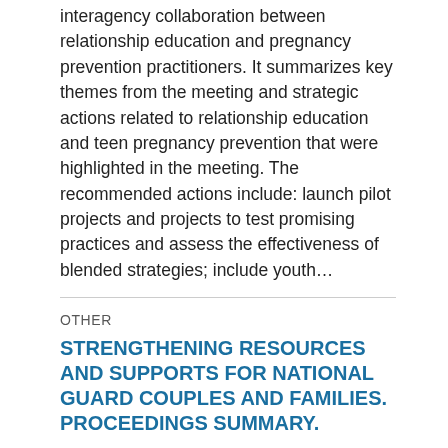interagency collaboration between relationship education and pregnancy prevention practitioners. It summarizes key themes from the meeting and strategic actions related to relationship education and teen pregnancy prevention that were highlighted in the meeting. The recommended actions include: launch pilot projects and projects to test promising practices and assess the effectiveness of blended strategies; include youth…
OTHER
STRENGTHENING RESOURCES AND SUPPORTS FOR NATIONAL GUARD COUPLES AND FAMILIES. PROCEEDINGS SUMMARY.
A variety of MRE programs are offered in communities and by the military/Guard. Connecting theGuard (through Chaplains and family support programs) to community-based MRE services can provide needed supports to Guard families coping with stressors related to deployment, employment, and lack of connection to other Guard families in their...